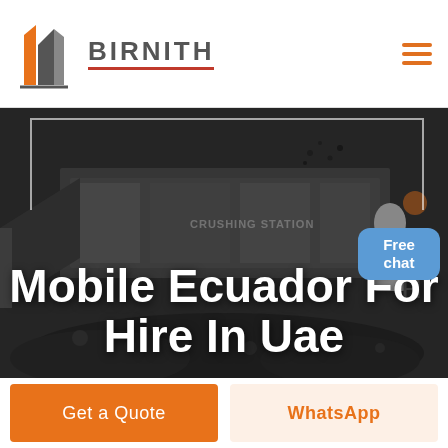[Figure (logo): Birnith company logo with orange building icon and brand name]
[Figure (photo): Industrial mobile crushing station machinery with coal/rock aggregate, dark moody background, text overlay 'Mobile Ecuador For Hire In Uae']
Mobile Ecuador For Hire In Uae
Free chat
Get a Quote
WhatsApp